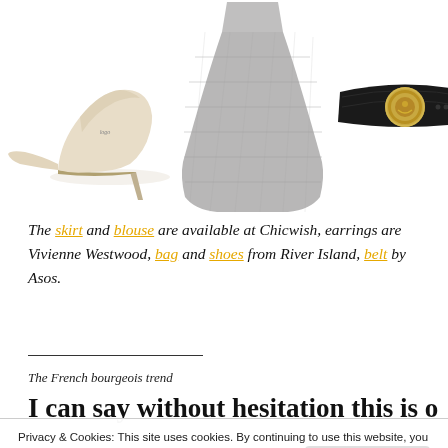[Figure (photo): Three fashion product images: a beige high-heel pump shoe on the left, a grey pleated/quilted skirt in the center, and a black leather belt with gold circular buckle on the right.]
The skirt and blouse are available at Chicwish, earrings are Vivienne Westwood, bag and shoes from River Island, belt by Asos.
The French bourgeois trend
I can say without hesitation this is one of my
Privacy & Cookies: This site uses cookies. By continuing to use this website, you agree to their use.
To find out more, including how to control cookies, see here: Cookie Policy
evocative Fall extravaganzas by Chloé